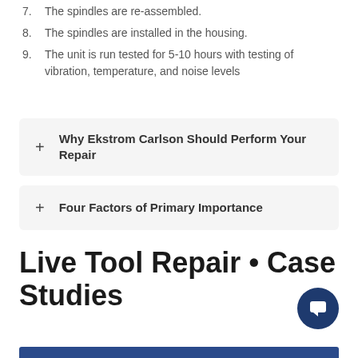7. The spindles are re-assembled.
8. The spindles are installed in the housing.
9. The unit is run tested for 5-10 hours with testing of vibration, temperature, and noise levels
Why Ekstrom Carlson Should Perform Your Repair
Four Factors of Primary Importance
Live Tool Repair • Case Studies